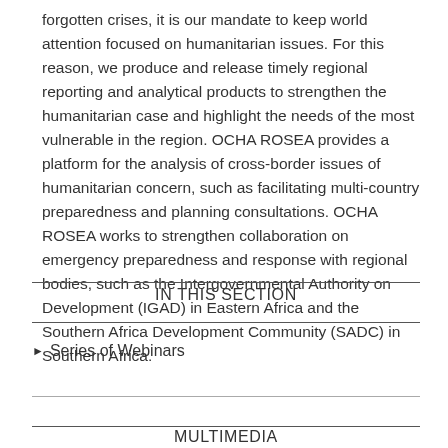forgotten crises, it is our mandate to keep world attention focused on humanitarian issues. For this reason, we produce and release timely regional reporting and analytical products to strengthen the humanitarian case and highlight the needs of the most vulnerable in the region. OCHA ROSEA provides a platform for the analysis of cross-border issues of humanitarian concern, such as facilitating multi-country preparedness and planning consultations. OCHA ROSEA works to strengthen collaboration on emergency preparedness and response with regional bodies, such as the Intergovernmental Authority on Development (IGAD) in Eastern Africa and the Southern Africa Development Community (SADC) in Southern Africa.
IN THIS SECTION
Series of Webinars
MULTIMEDIA